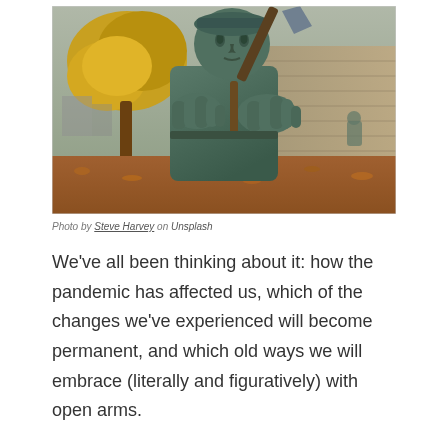[Figure (photo): A large bronze statue of a worker/laborer figure holding a shovel or tool with both hands extended toward the viewer. The statue has oversized hands and a serious facial expression. Behind the statue are autumn trees with yellow leaves, a stone wall, and a park setting with fallen leaves on the ground. A smaller statue or figure is visible in the background to the right.]
Photo by Steve Harvey on Unsplash
We've all been thinking about it: how the pandemic has affected us, which of the changes we've experienced will become permanent, and which old ways we will embrace (literally and figuratively) with open arms.